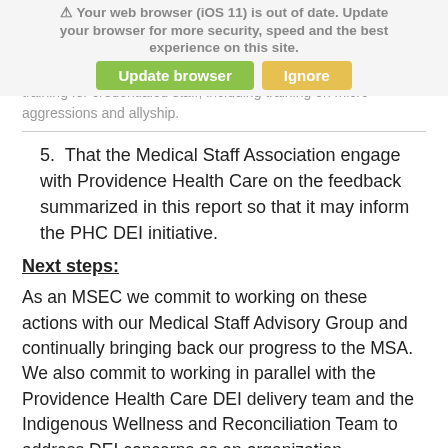4. That the Medical Staff Association sponsor education and training for credentialed staff, including training on micro-aggressions and allyship.
5. That the Medical Staff Association engage with Providence Health Care on the feedback summarized in this report so that it may inform the PHC DEI initiative.
Next steps:
As an MSEC we commit to working on these actions with our Medical Staff Advisory Group and continually bringing back our progress to the MSA. We also commit to working in parallel with the Providence Health Care DEI delivery team and the Indigenous Wellness and Reconciliation Team to address DEI concerns as an organization.
Read more:
A message from Fiona Dalton, President & CEO and the Diversity, Equity and Inclusion Delivery Team: Diversity, Equity and